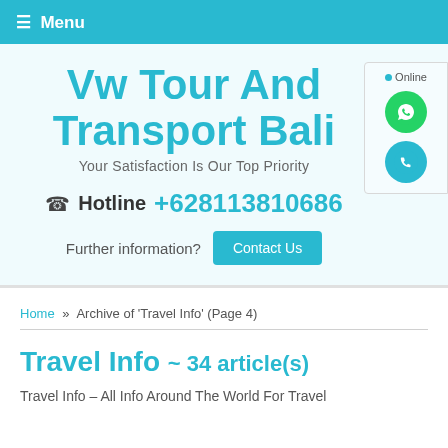☰ Menu
Vw Tour And Transport Bali
Your Satisfaction Is Our Top Priority
☎ Hotline +628113810686
Further information? Contact Us
Home » Archive of 'Travel Info' (Page 4)
Travel Info ~ 34 article(s)
Travel Info – All Info Around The World For Travel